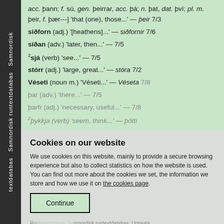acc. þann; f. sú, gen. þeirrar, acc. þá; n. þat, dat. því; pl. m. þeir, f. þær---] 'that (one), those...' — þeir 7/3
siðforn (adj.) '[heathens]...' — siðfornir 7/6
síðan (adv.) 'later, then...' — 7/5
²sjá (verb) 'see...' — 7/5
stórr (adj.) 'large, great...' — stóra 7/2
Véseti (noun m.) 'Véseti...' — Véseta 7/8
þar (adv.) 'there...' — 7/5
þarfr (adj.) 'necessary, useful...' — 7/8
²þykkja (verb) 'seem, think...' — þótti
Cookies on our website
We use cookies on this website, mainly to provide a secure browsing experience but also to collect statistics on how the website is used. You can find out more about the cookies we set, the information we store and how we use it on the cookies page.
Continue
Runtextdatabas, Uppsala universitet, unless otherwise stated
(try the mobile site)